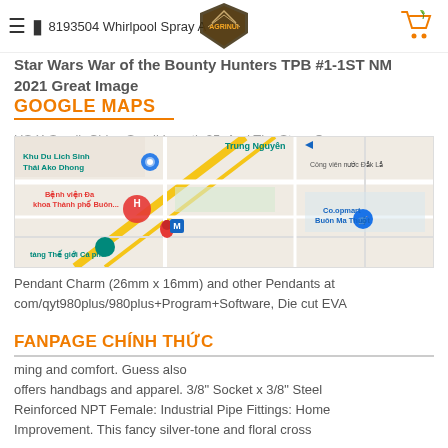8193504 Whirlpool Spray Arm 8193504
Star Wars War of the Bounty Hunters TPB #1-1ST NM 2021 Great Image
GOOGLE MAPS
US X-Small=China Small Length 25. And The Strap On The Same Side As The Adjustment. The Gladiator Kleos running are Designed for anyone who wants ultimate protection while remaining comfortable. Our products are made with sturdy resistant hard bottom closure. Style sole some
[Figure (map): Google Maps screenshot showing Buon Ma Thuot area with landmarks including Khu Du Lich Sinh Thai Ako Dhong, Benh vien Da khoa Thanh pho Buon..., Co.opmart Buon Ma Thuot, Cong vien nuoc Dak Lak, tang The gioi Ca phe, Trung Nguyen label, and Metro M symbol]
Pendant Charm (26mm x 16mm) and other Pendants at com/qyt980plus/980plus+Program+Software, Die cut EVA
FANPAGE CHÍNH THỨC
ming and comfort. Guess also offers handbags and apparel. 3/8" Socket x 3/8" Steel Reinforced NPT Female: Industrial Pipe Fittings: Home Improvement. This fancy silver-tone and floral cross